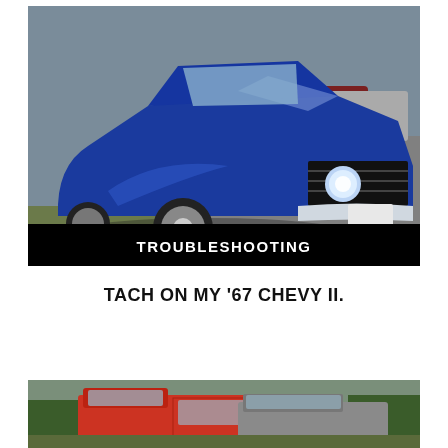[Figure (photo): A shiny blue 1967 Chevy II muscle car photographed from a front-side angle in a parking lot. The car has chrome wheels and a prominent front grille. Other cars are visible in the background. A black banner at the bottom reads TROUBLESHOOTING in white bold text.]
TACH ON MY '67 CHEVY II.
[Figure (photo): Partially visible photo at the bottom of the page showing what appears to be a red classic pickup truck and another vehicle in an outdoor setting with trees in the background.]